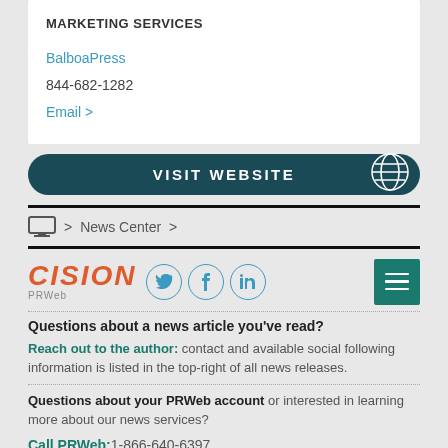MARKETING SERVICES
BalboaPress
844-682-1282
Email >
[Figure (other): VISIT WEBSITE button with globe icon, dark teal rounded rectangle]
[Figure (other): Navigation breadcrumb: monitor icon > News Center >]
[Figure (logo): Cision PRWeb logo in orange-red italic with PRWeb in gray below, plus Twitter, Facebook, LinkedIn social circle icons, and hamburger menu button in teal]
Questions about a news article you've read?
Reach out to the author: contact and available social following information is listed in the top-right of all news releases.
Questions about your PRWeb account or interested in learning more about our news services?
Call PRWeb: 1-866-640-6397